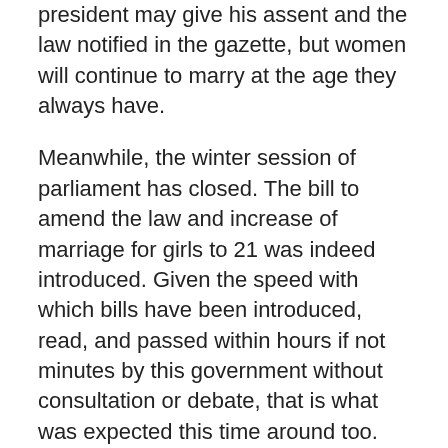president may give his assent and the law notified in the gazette, but women will continue to marry at the age they always have.
Meanwhile, the winter session of parliament has closed. The bill to amend the law and increase of marriage for girls to 21 was indeed introduced. Given the speed with which bills have been introduced, read, and passed within hours if not minutes by this government without consultation or debate, that is what was expected this time around too. But in a welcome departure from the current practice, after introduction, the Bill has actually been referred to a parliamentary standing committee. This practice allows a smaller number of MPs to summon experts from various fields to make their presentations and assist parliament to